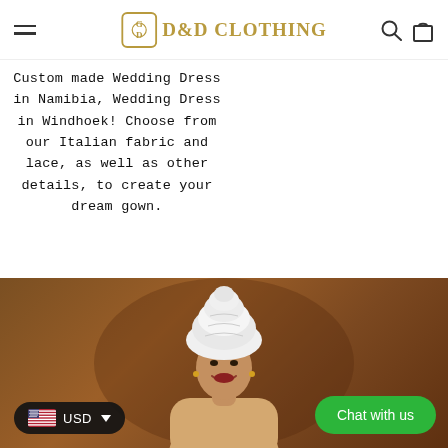D&D CLOTHING
Custom made Wedding Dress in Namibia, Wedding Dress in Windhoek! Choose from our Italian fabric and lace, as well as other details, to create your dream gown.
[Figure (photo): Woman wearing white Nigerian gele headwrap and smiling, photographed against a warm brown studio background. A 'Chat with us' green button and a USD currency selector badge overlay the lower portion of the image.]